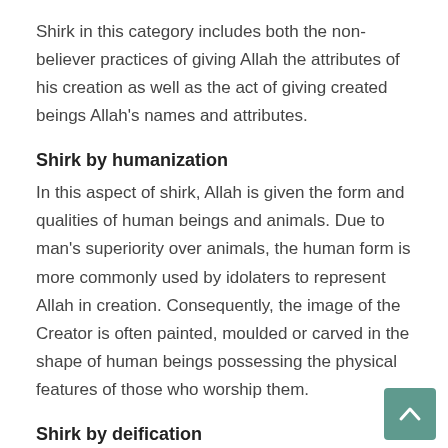Shirk in this category includes both the non-believer practices of giving Allah the attributes of his creation as well as the act of giving created beings Allah's names and attributes.
Shirk by humanization
In this aspect of shirk, Allah is given the form and qualities of human beings and animals. Due to man's superiority over animals, the human form is more commonly used by idolaters to represent Allah in creation. Consequently, the image of the Creator is often painted, moulded or carved in the shape of human beings possessing the physical features of those who worship them.
Shirk by deification
This form of shirk relates to cases where created beings or things are given or claim Allah's names or his